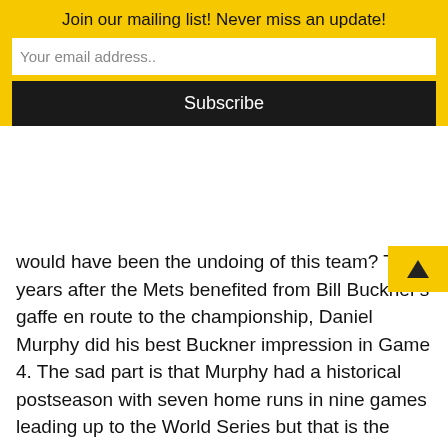Join our mailing list! Never miss an update!
Your email address..
Subscribe
would have been the undoing of this team? Thirty years after the Mets benefited from Bill Buckner’s gaffe en route to the championship, Daniel Murphy did his best Buckner impression in Game 4. The sad part is that Murphy had a historical postseason with seven home runs in nine games leading up to the World Series but that is the image people will remember. Murphy is now a free agent and was the same guy in April, 2014 who made news by missing the Mets first two games to be present for the birth of his first child.
And a final shoutout to Mets outfielder Yoenis Cespedes who had a ridiculously foolish base running gaffe in the ninth inning of Game 4 that ended the game. And for the record, Cespedes will not get the six-